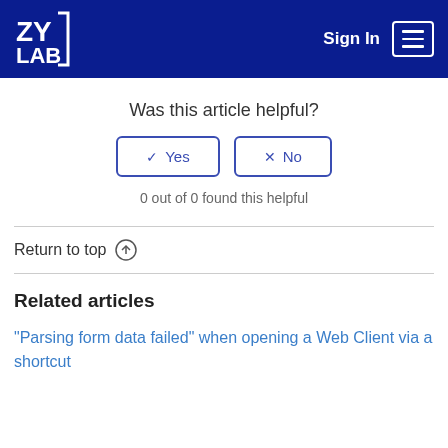ZyLAB an IPRO company | Sign In
Was this article helpful?
✓ Yes   ✗ No
0 out of 0 found this helpful
Return to top ↑
Related articles
"Parsing form data failed" when opening a Web Client via a shortcut